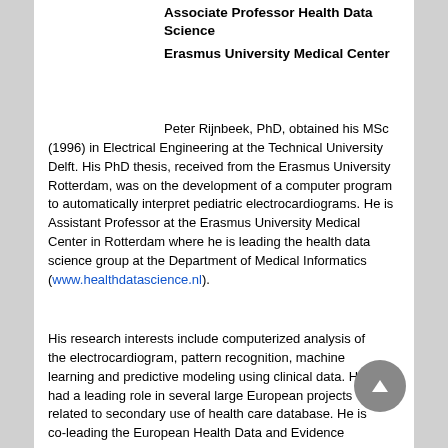Associate Professor Health Data Science
Erasmus University Medical Center
Peter Rijnbeek, PhD, obtained his MSc (1996) in Electrical Engineering at the Technical University Delft. His PhD thesis, received from the Erasmus University Rotterdam, was on the development of a computer program to automatically interpret pediatric electrocardiograms. He is Assistant Professor at the Erasmus University Medical Center in Rotterdam where he is leading the health data science group at the Department of Medical Informatics (www.healthdatascience.nl).
His research interests include computerized analysis of the electrocardiogram, pattern recognition, machine learning and predictive modeling using clinical data. He had a leading role in several large European projects related to secondary use of health care database. He is co-leading the European Health Data and Evidence